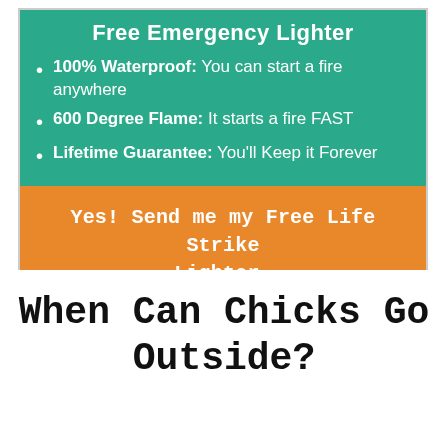Free Emergency Lighter
100% Waterproof: You can start a fire anywhere
600 Degree Flame: It starts a fire FAST
Lifetime Guarantee: You'll Keep it Forever
Yes! Send me my Free Life Strike Lighter.
When Can Chicks Go Outside?